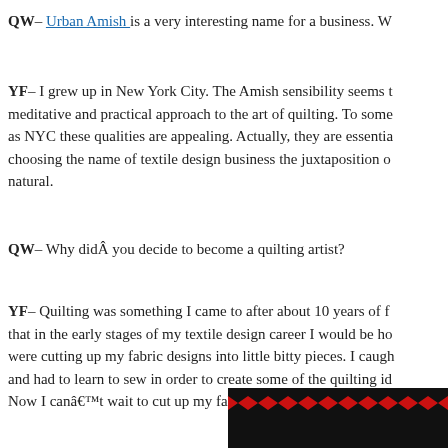QW– Urban Amish is a very interesting name for a business. W
YF– I grew up in New York City. The Amish sensibility seems t meditative and practical approach to the art of quilting. To some as NYC these qualities are appealing. Actually, they are essentia choosing the name of textile design business the juxtaposition o natural.
QW– Why didÂ you decide to become a quilting artist?
YF– Quilting was something I came to after about 10 years of f that in the early stages of my textile design career I would be ho were cutting up my fabric designs into little bitty pieces. I caugh and had to learn to sew in order to create some of the quilting id Now I canâ€™t wait to cut up my fabrics with a nice and sharp
[Figure (photo): Bottom right corner: partial image of a quilt with red and dark/black zigzag or chevron pattern fabric]